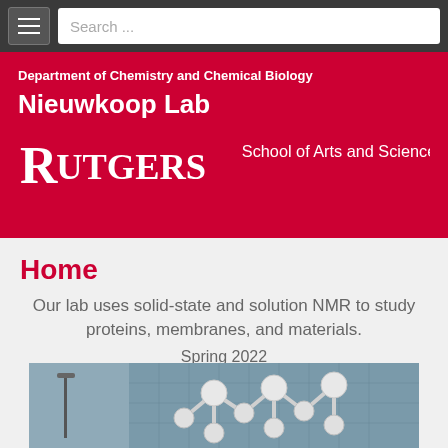Search ...
Department of Chemistry and Chemical Biology
Nieuwkoop Lab
[Figure (logo): Rutgers School of Arts and Sciences logo/wordmark in white on red background]
Home
Our lab uses solid-state and solution NMR to study proteins, membranes, and materials.
Spring 2022
[Figure (photo): Photograph of molecular sculpture (white ball-and-stick models) in front of a glass building facade, Rutgers campus]